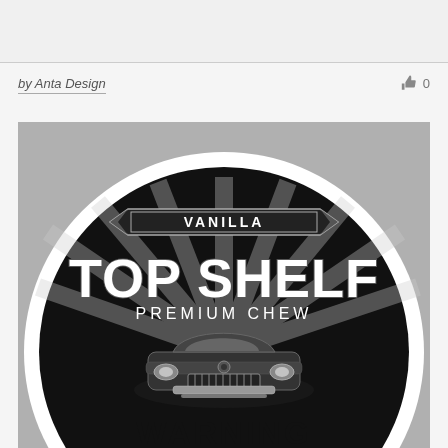by Anta Design   👍 0
[Figure (illustration): Circular product label for 'Top Shelf Premium Chew - Vanilla' featuring a vintage black car on a black background with radiating light rays. A banner at the top reads 'VANILLA'. Large text reads 'TOP SHELF' and below it 'PREMIUM CHEW'. At the bottom of the label visible text reads 'WARNING'. The label has a white border ring.]